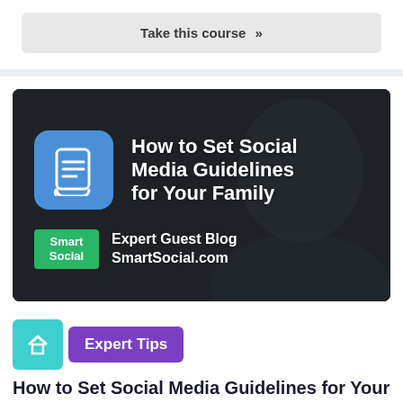Take this course »
[Figure (illustration): Banner image with dark overlay showing a person using a phone. Blue rounded square icon with a scroll/list document icon. Title text: 'How to Set Social Media Guidelines for Your Family'. Green 'Smart Social' badge. Text: 'Expert Guest Blog SmartSocial.com']
Expert Tips
How to Set Social Media Guidelines for Your